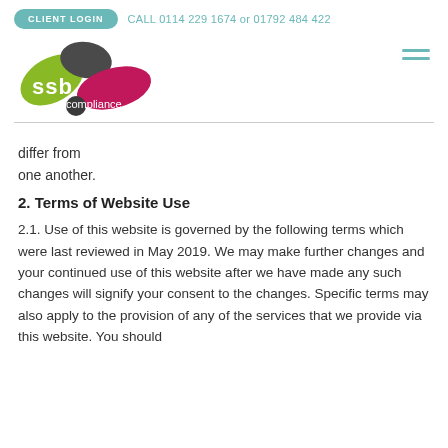CLIENT LOGIN   CALL 0114 229 1674 or 01792 484 422
[Figure (logo): SSB Compliance logo with coloured leaf/petal shapes and text]
differ from one another.
2. Terms of Website Use
2.1. Use of this website is governed by the following terms which were last reviewed in May 2019. We may make further changes and your continued use of this website after we have made any such changes will signify your consent to the changes. Specific terms may also apply to the provision of any of the services that we provide via this website. You should